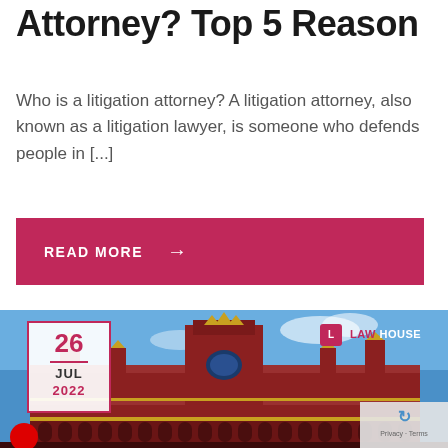Attorney? Top 5 Reason
Who is a litigation attorney? A litigation attorney, also known as a litigation lawyer, is someone who defends people in [...]
READ MORE →
[Figure (photo): Historic red brick court building (Calcutta High Court) with Gothic architecture under blue sky, with date badge '26 JUL 2022' and Law House logo overlay]